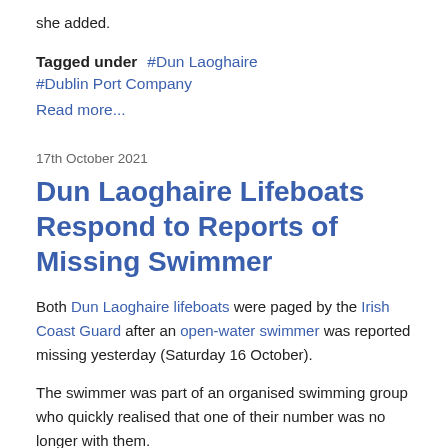she added.
Tagged under  #Dun Laoghaire  #Dublin Port Company
Read more...
17th October 2021
Dun Laoghaire Lifeboats Respond to Reports of Missing Swimmer
Both Dun Laoghaire lifeboats were paged by the Irish Coast Guard after an open-water swimmer was reported missing yesterday (Saturday 16 October).
The swimmer was part of an organised swimming group who quickly realised that one of their number was no longer with them.